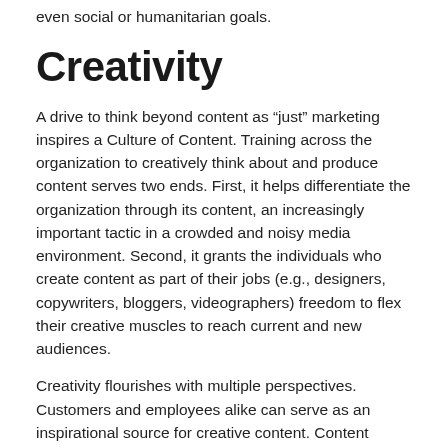even social or humanitarian goals.
Creativity
A drive to think beyond content as “just” marketing inspires a Culture of Content. Training across the organization to creatively think about and produce content serves two ends. First, it helps differentiate the organization through its content, an increasingly important tactic in a crowded and noisy media environment. Second, it grants the individuals who create content as part of their jobs (e.g., designers, copywriters, bloggers, videographers) freedom to flex their creative muscles to reach current and new audiences.
Creativity flourishes with multiple perspectives. Customers and employees alike can serve as an inspirational source for creative content. Content marketers (among other business functions) can leverage both earned media and listening analytics across all media to extract insights on how to evolve existing artifacts and justify new approaches.
Risk – and a willingness to fail